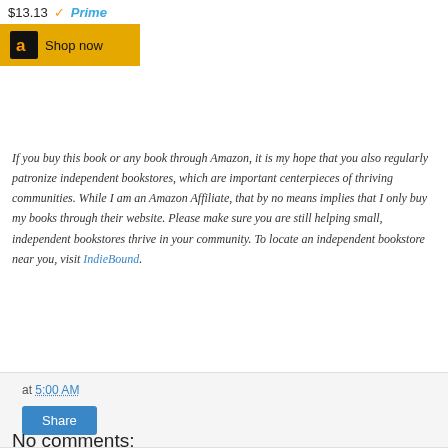[Figure (screenshot): Amazon product widget showing price $13.13, Prime badge with checkmark, and a Shop now button with Amazon logo on gold background]
If you buy this book or any book through Amazon, it is my hope that you also regularly patronize independent bookstores, which are important centerpieces of thriving communities. While I am an Amazon Affiliate, that by no means implies that I only buy my books through their website. Please make sure you are still helping small, independent bookstores thrive in your community. To locate an independent bookstore near you, visit IndieBound.
at 5:00 AM
Share
No comments:
Post a Comment
< Home >